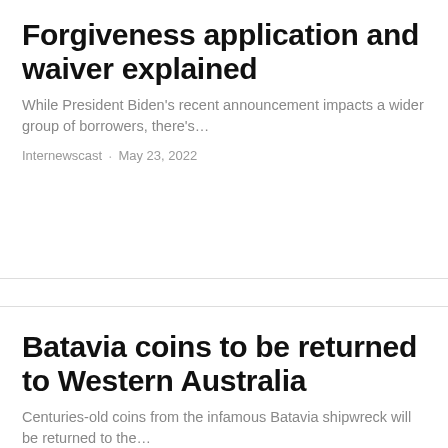Forgiveness application and waiver explained
While President Biden's recent announcement impacts a wider group of borrowers, there's…
Internewscast · May 23, 2022
Batavia coins to be returned to Western Australia
Centuries-old coins from the infamous Batavia shipwreck will be returned to the…